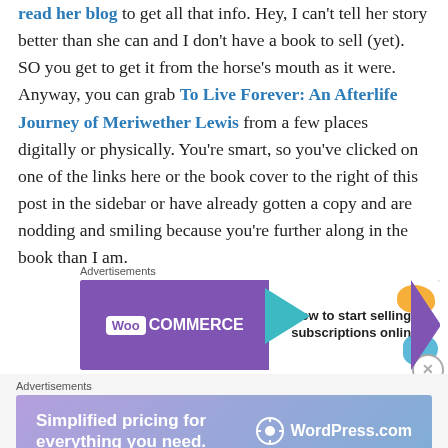read her blog to get all that info. Hey, I can't tell her story better than she can and I don't have a book to sell (yet). SO you get to get it from the horse's mouth as it were. Anyway, you can grab To Live Forever: An Afterlife Journey of Meriwether Lewis from a few places digitally or physically. You're smart, so you've clicked on one of the links here or the book cover to the right of this post in the sidebar or have already gotten a copy and are nodding and smiling because you're further along in the book than I am.
[Figure (other): WooCommerce advertisement banner: purple background on left with WooCommerce logo and teal arrow, white background on right with text 'How to start selling subscriptions online' and orange/blue decorative blobs]
[Figure (other): WordPress.com advertisement banner: gradient purple-blue background with text 'Simplified pricing for everything you need.' and WordPress.com logo on right]